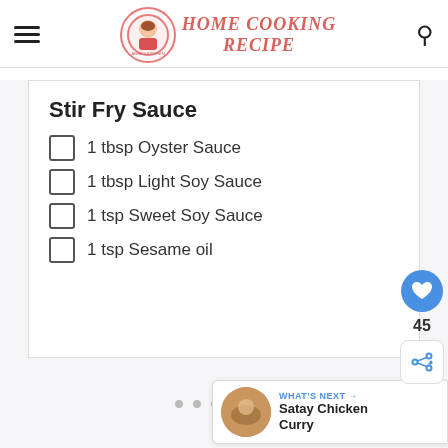HOME COOKING RECIPE
Stir Fry Sauce
1 tbsp Oyster Sauce
1 tbsp Light Soy Sauce
1 tsp Sweet Soy Sauce
1 tsp Sesame oil
45
WHAT'S NEXT → Satay Chicken Curry